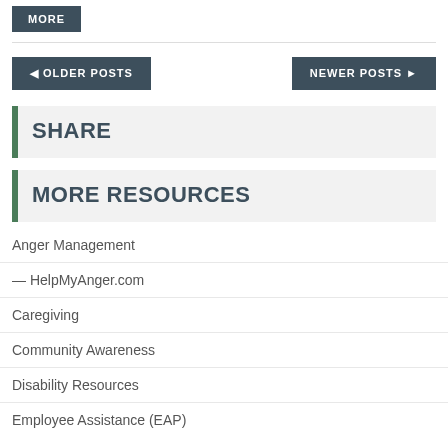MORE
◄ OLDER POSTS
NEWER POSTS ►
SHARE
MORE RESOURCES
Anger Management
— HelpMyAnger.com
Caregiving
Community Awareness
Disability Resources
Employee Assistance (EAP)